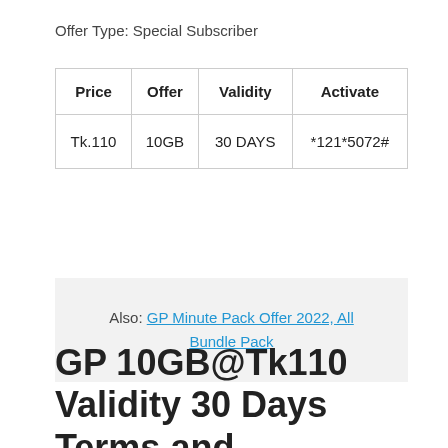Offer Type: Special Subscriber
| Price | Offer | Validity | Activate |
| --- | --- | --- | --- |
| Tk.110 | 10GB | 30 DAYS | *121*5072# |
Also: GP Minute Pack Offer 2022, All Bundle Pack
GP 10GB@Tk110 Validity 30 Days Terms and conditions